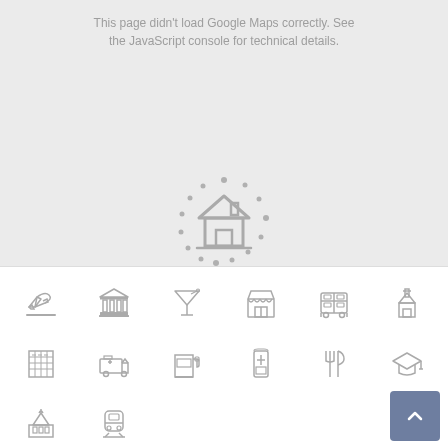This page didn't load Google Maps correctly. See the JavaScript console for technical details.
[Figure (illustration): Google Maps loading spinner icon: a house icon in the center surrounded by a dashed circular ring of dots, in gray on a light gray background]
[Figure (infographic): A white panel at the bottom containing a grid of gray location/map category icons in three rows of six: row 1: airplane/departures, bank/building, cocktail/bar, shop/storefront, bus, church; row 2: building/office, ambulance, gas station, pharmacy, restaurant/fork and knife, graduation cap/school; row 3: capitol building, train; and a dark blue-gray scroll-to-top button with an upward chevron in the bottom right corner]